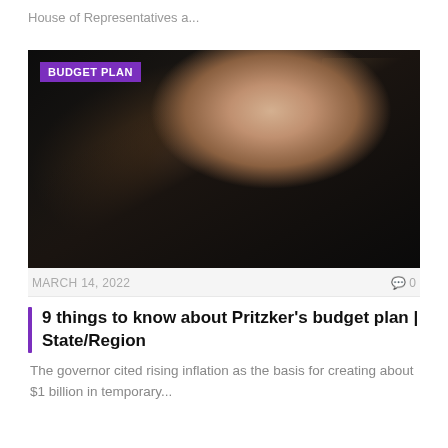House of Representatives a...
[Figure (photo): Governor Pritzker speaking at a podium in a dark suit and blue tie, with a woman in black to his left, set against a wood-paneled room with a painting in the background. A purple badge reading 'BUDGET PLAN' overlays the top-left corner.]
MARCH 14, 2022
0
9 things to know about Pritzker's budget plan | State/Region
The governor cited rising inflation as the basis for creating about $1 billion in temporary...